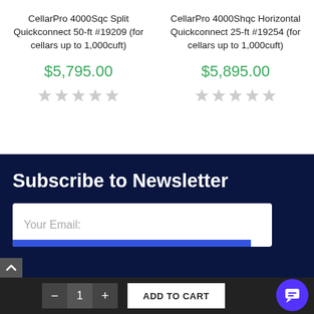CellarPro 4000Sqc Split Quickconnect 50-ft #19209 (for cellars up to 1,000cuft)
$5,795.00
CellarPro 4000Shqc Horizontal Quickconnect 25-ft #19254 (for cellars up to 1,000cuft)
$5,895.00
Subscribe to Newsletter
Your Email: